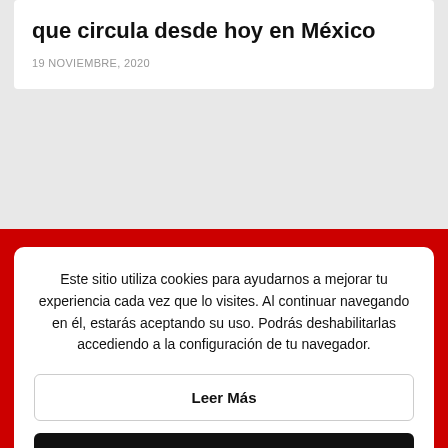que circula desde hoy en México
19 NOVIEMBRE, 2020
Este sitio utiliza cookies para ayudarnos a mejorar tu experiencia cada vez que lo visites. Al continuar navegando en él, estarás aceptando su uso. Podrás deshabilitarlas accediendo a la configuración de tu navegador.
Leer Más
Acepto